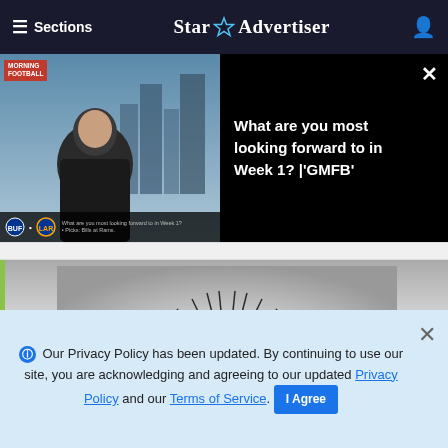≡ Sections  Star Advertiser
[Figure (screenshot): Video banner with Morning Football thumbnail showing a TV host, and text 'What are you most looking forward to in Week 1? | GMFB']
[Figure (logo): Honolulu Star-Advertiser logo with sunburst design and gothic lettering]
Our Privacy Policy has been updated. By continuing to use our site, you are acknowledging and agreeing to our updated Privacy Policy and our Terms of Service. I Agree